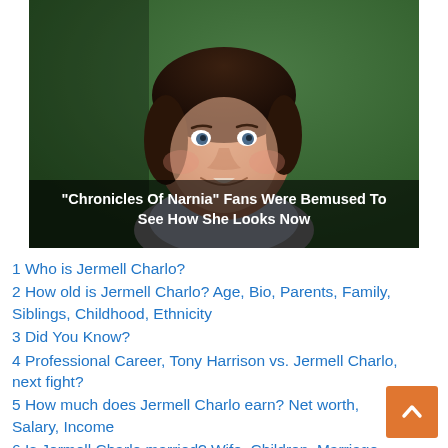[Figure (photo): Photo of a young girl with curly dark hair, smiling, with a blurred green background. Overlay text reads: "Chronicles Of Narnia" Fans Were Bemused To See How She Looks Now]
1 Who is Jermell Charlo?
2 How old is Jermell Charlo? Age, Bio, Parents, Family, Siblings, Childhood, Ethnicity
3 Did You Know?
4 Professional Career, Tony Harrison vs. Jermell Charlo, next fight?
5 How much does Jermell Charlo earn? Net worth, Salary, Income
6 Is Jermell Charlo married? Wife, Children, Marriage
7 Jermell Charlo: Height, Weight, Eye Color